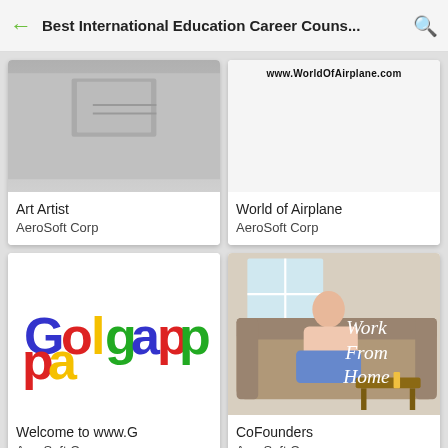Best International Education Career Couns...
Art Artist
AeroSoft Corp
World of Airplane
AeroSoft Corp
Welcome to www.G
AeroSoft Corp
CoFounders
AeroSoft Corp